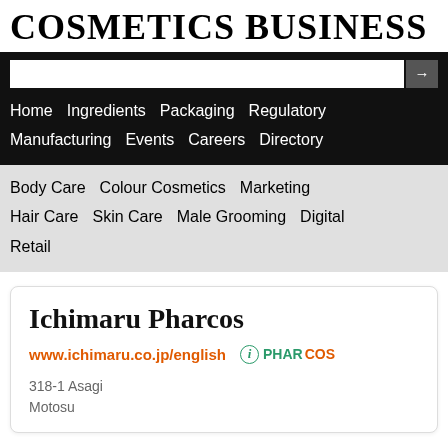COSMETICS BUSINESS
Home  Ingredients  Packaging  Regulatory  Manufacturing  Events  Careers  Directory
Body Care  Colour Cosmetics  Marketing  Hair Care  Skin Care  Male Grooming  Digital  Retail
Ichimaru Pharcos
www.ichimaru.co.jp/english
318-1 Asagi
Motosu